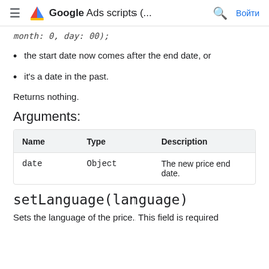Google Ads scripts (... Войти
month: 0, day: 00);
the start date now comes after the end date, or
it's a date in the past.
Returns nothing.
Arguments:
| Name | Type | Description |
| --- | --- | --- |
| date | Object | The new price end date. |
setLanguage(language)
Sets the language of the price. This field is required